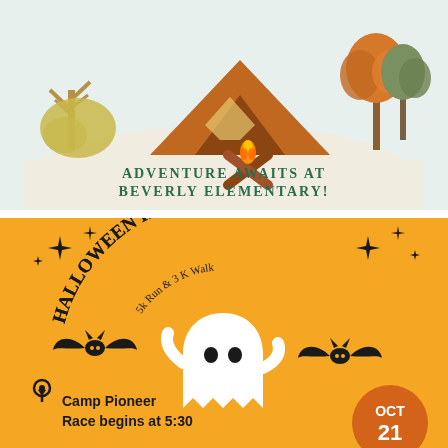[Figure (illustration): Camping scene illustration with an orange tent, campfire with crossed logs, autumn trees (green and orange), and a beige/cream ground area. Text reads 'ADVENTURE AWAITS AT BEVERLY ELEMENTARY!' in dark green bold letters.]
[Figure (illustration): Halloween Hustle event flyer on orange background. Large curved text 'HALLOWEEN HUSTLE' in black. Subtitle '5k Run & 3 K Walk' in curved text. Decorative sparkle/star elements. White ghost illustration in center. Two black bat illustrations. Location pin icon with text 'Camp Pioneer Race begins at 5:30'. Orange circle badge with 'OCT 21' in white text.]